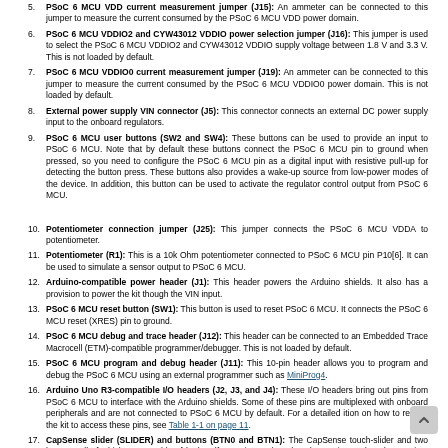PSoC 6 MCU VDD current measurement jumper (J15): An ammeter can be connected to this jumper to measure the current consumed by the PSoC 6 MCU VDD power domain.
PSoC 6 MCU VDDIO2 and CYW43012 VDDIO power selection jumper (J16): This jumper is used to select the PSoC 6 MCU VDDIO2 and CYW43012 VDDIO supply voltage between 1.8 V and 3.3 V. This is not loaded by default.
PSoC 6 MCU VDDIO0 current measurement jumper (J19): An ammeter can be connected to this jumper to measure the current consumed by the PSoC 6 MCU VDDIO0 power domain. This is not loaded by default.
External power supply VIN connector (J5): This connector connects an external DC power supply input to the onboard regulators.
PSoC 6 MCU user buttons (SW2 and SW4): These buttons can be used to provide an input to PSoC 6 MCU. Note that by default these buttons connect the PSoC 6 MCU pin to ground when pressed, so you need to configure the PSoC 6 MCU pin as a digital input with resistive pull-up for detecting the button press. These buttons also provides a wake-up source from low-power modes of the device. In addition, this button can be used to activate the regulator control output from PSoC 6 MCU.
Potentiometer connection jumper (J25): This jumper connects the PSoC 6 MCU VDDA to potentiometer.
Potentiometer (R1): This is a 10k Ohm potentiometer connected to PSoC 6 MCU pin P10[6]. It can be used to simulate a sensor output to PSoC 6 MCU.
Arduino-compatible power header (J1): This header powers the Arduino shields. It also has a provision to power the kit though the VIN input.
PSoC 6 MCU reset button (SW1): This button is used to reset PSoC 6 MCU. It connects the PSoC 6 MCU reset (XRES) pin to ground.
PSoC 6 MCU debug and trace header (J12): This header can be connected to an Embedded Trace Macrocell (ETM)-compatible programmer/debugger. This is not loaded by default.
PSoC 6 MCU program and debug header (J11): This 10-pin header allows you to program and debug the PSoC 6 MCU using an external programmer such as MiniProg4.
Arduino Uno R3-compatible I/O headers (J2, J3, and J4): These I/O headers bring out pins from PSoC 6 MCU to interface with the Arduino shields. Some of these pins are multiplexed with onboard peripherals and are not connected to PSoC 6 MCU by default. For a detailed information on how to rework the kit to access these pins, see Table 1-1 on page 11.
CapSense slider (SLIDER) and buttons (BTN0 and BTN1): The CapSense touch-slider and two buttons, all of which are capable of both self-capacitance (CSD) and capacitance (CSX) operation, allow you to evaluate Cypress' fourth-generation CapSense technology. The slider and buttons have a 1-mm acrylic overlay for smooth touch sensing.